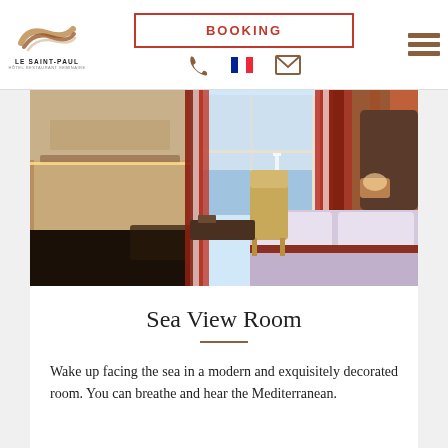LE SAINT-PAUL | BOOKING
[Figure (photo): Hotel room photo showing a modern sea view room with red striped curtains, a window with sea view, wooden desk area with shelves, a chair, and a bed with light purple bedding.]
Sea View Room
Wake up facing the sea in a modern and exquisitely decorated room. You can breathe and hear the Mediterranean.